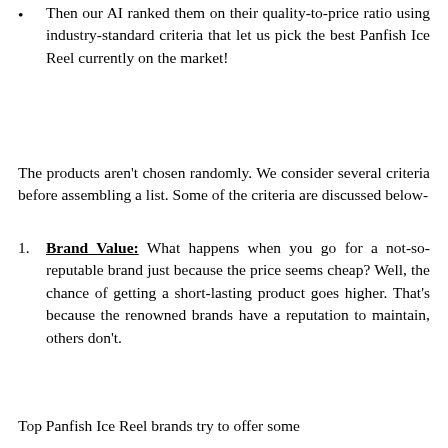Then our AI ranked them on their quality-to-price ratio using industry-standard criteria that let us pick the best Panfish Ice Reel currently on the market!
The products aren't chosen randomly. We consider several criteria before assembling a list. Some of the criteria are discussed below-
Brand Value: What happens when you go for a not-so-reputable brand just because the price seems cheap? Well, the chance of getting a short-lasting product goes higher. That's because the renowned brands have a reputation to maintain, others don't.
Top Panfish Ice Reel brands try to offer some